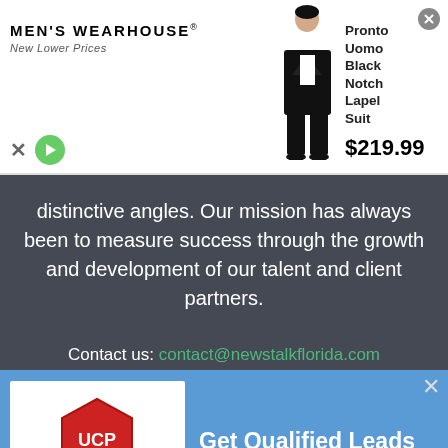[Figure (screenshot): Men's Wearhouse advertisement banner showing brand logo with 'New Lower Prices' tagline, a man in a black tuxedo suit, product name 'Pronto Uomo Black Notch Lapel Suit' and price '$219.99']
distinctive angles. Our mission has always been to measure success through the growth and development of our talent and client partners.
Contact us: contact@newstalkflorida.com
[Figure (screenshot): United Cities Productions advertisement with logo and text 'Get Qualified Leads For Your Business' on blue background]
[Figure (screenshot): Ulta Beauty advertisement banner showing makeup-related images, Ulta Beauty logo, and 'SHOP NOW' call to action]